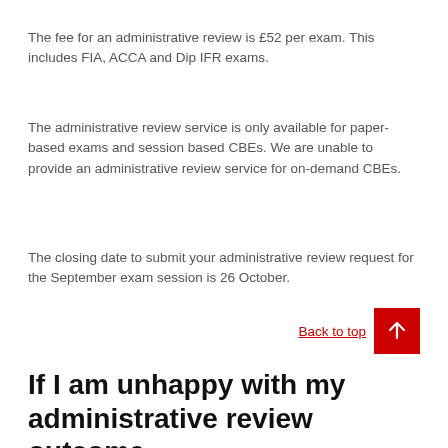The fee for an administrative review is £52 per exam. This includes FIA, ACCA and Dip IFR exams.
The administrative review service is only available for paper-based exams and session based CBEs. We are unable to provide an administrative review service for on-demand CBEs.
The closing date to submit your administrative review request for the September exam session is 26 October.
Back to top
If I am unhappy with my administrative review outcome,